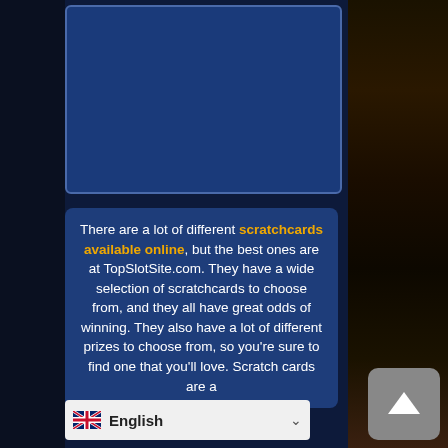[Figure (other): Blue rectangular image placeholder with rounded corners and a darker blue border, set against a dark navy background]
There are a lot of different scratchcards available online, but the best ones are at TopSlotSite.com. They have a wide selection of scratchcards to choose from, and they all have great odds of winning. They also have a lot of different prizes to choose from, so you're sure to find one that you'll love. Scratch cards are a way to win big prizes w...
[Figure (other): Language selector bar showing UK flag and 'English' text with a dropdown arrow, and a grey scroll-to-top button with an upward arrow]